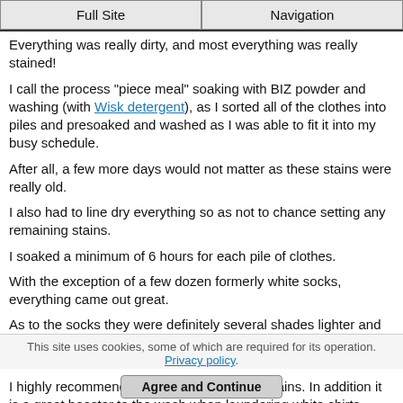Full Site | Navigation
Everything was really dirty, and most everything was really stained!
I call the process "piece meal" soaking with BIZ powder and washing (with Wisk detergent), as I sorted all of the clothes into piles and presoaked and washed as I was able to fit it into my busy schedule.
After all, a few more days would not matter as these stains were really old.
I also had to line dry everything so as not to chance setting any remaining stains.
I soaked a minimum of 6 hours for each pile of clothes.
With the exception of a few dozen formerly white socks, everything came out great.
As to the socks they were definitely several shades lighter and certainly smelled better after the initial soak and washing. I will presoak them again when they hit the wash next week.
I highly recommend BIZ for presoaking old stains. In addition it is a great booster to the wash when laundering white shirts.
This site uses cookies, some of which are required for its operation. Privacy policy. Agree and Continue